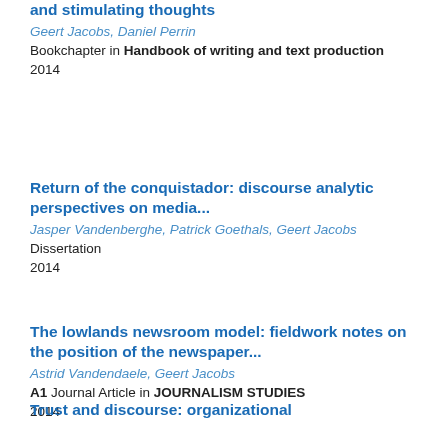and stimulating thoughts
Geert Jacobs, Daniel Perrin
Bookchapter in Handbook of writing and text production
2014
Return of the conquistador: discourse analytic perspectives on media...
Jasper Vandenberghe, Patrick Goethals, Geert Jacobs
Dissertation
2014
The lowlands newsroom model: fieldwork notes on the position of the newspaper...
Astrid Vandendaele, Geert Jacobs
A1 Journal Article in JOURNALISM STUDIES
2014
Trust and discourse: organizational